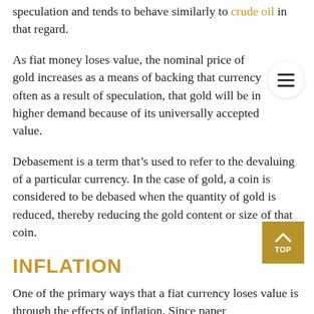speculation and tends to behave similarly to crude oil in that regard.
As fiat money loses value, the nominal price of gold increases as a means of backing that currency often as a result of speculation, that gold will be in higher demand because of its universally accepted value.
Debasement is a term that’s used to refer to the devaluing of a particular currency. In the case of gold, a coin is considered to be debased when the quantity of gold is reduced, thereby reducing the gold content or size of that coin.
INFLATION
One of the primary ways that a fiat currency loses value is through the effects of inflation. Since paper